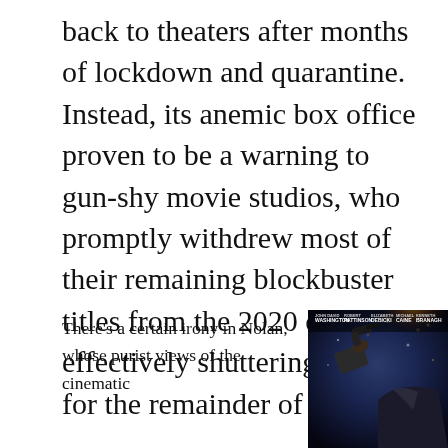back to theaters after months of lockdown and quarantine. Instead, its anemic box office proven to be a warning to gun-shy movie studios, who promptly withdrew most of their remaining blockbuster titles from the 2020 calendar, effectively shuttering cinemas for the remainder of the year.
There's a certain irony in Nolan, whose purist views of the cinematic
[Figure (photo): Movie poster for Tenet featuring John David Washington, Robert Pattinson, Elizabeth Debicki, Michael Caine, Kenneth Branagh. A figure in a suit holds a gun, with action/explosion imagery in the background.]